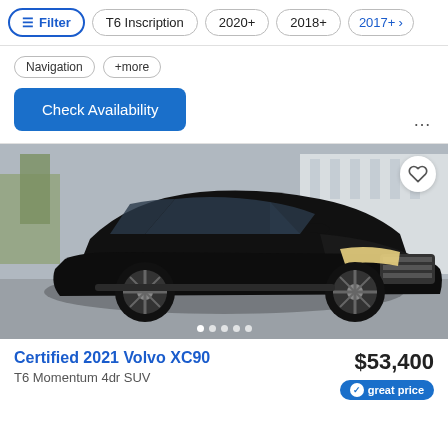Filter | T6 Inscription | 2020+ | 2018+ | 2017+
Navigation  +more
Check Availability
[Figure (photo): Black Volvo XC90 SUV photographed from a front three-quarter angle in a parking lot]
Certified 2021 Volvo XC90
T6 Momentum 4dr SUV
$53,400
great price